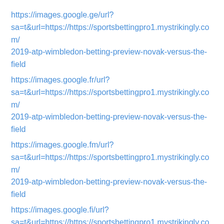https://images.google.ge/url?sa=t&url=https://https://sportsbettingpro1.mystrikingly.com/2019-atp-wimbledon-betting-preview-novak-versus-the-field
https://images.google.fr/url?sa=t&url=https://https://sportsbettingpro1.mystrikingly.com/2019-atp-wimbledon-betting-preview-novak-versus-the-field
https://images.google.fm/url?sa=t&url=https://https://sportsbettingpro1.mystrikingly.com/2019-atp-wimbledon-betting-preview-novak-versus-the-field
https://images.google.fi/url?sa=t&url=https://https://sportsbettingpro1.mystrikingly.com/2019-atp-wimbledon-betting-preview-novak-versus-the-field
https://images.google.es/url?sa=t&url=https://https://sportsbettingpro1.mystrikingly.com/